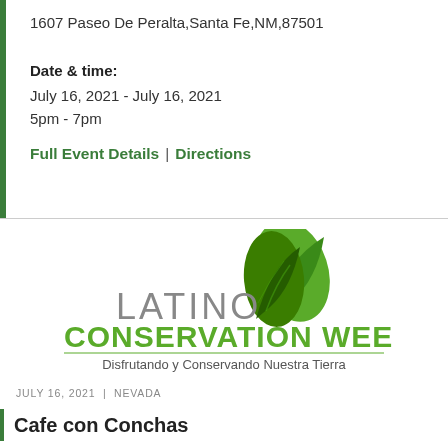1607 Paseo De Peralta,Santa Fe,NM,87501
Date & time:
July 16, 2021 - July 16, 2021
5pm - 7pm
Full Event Details | Directions
[Figure (logo): Latino Conservation Week logo with green leaves graphic, subtitle: Disfrutando y Conservando Nuestra Tierra]
JULY 16, 2021 | NEVADA
Cafe con Conchas